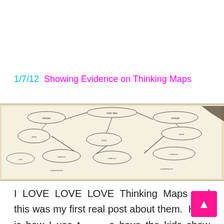1/7/12  Showing Evidence on Thinking Maps
[Figure (photo): A student's thinking map on paper showing a tree map or concept map with branching bubbles and handwritten text, photographed on a desk.]
I LOVE LOVE LOVE Thinking Maps and this was my first real post about them.  Here is how I use them to have the kids show evidence.